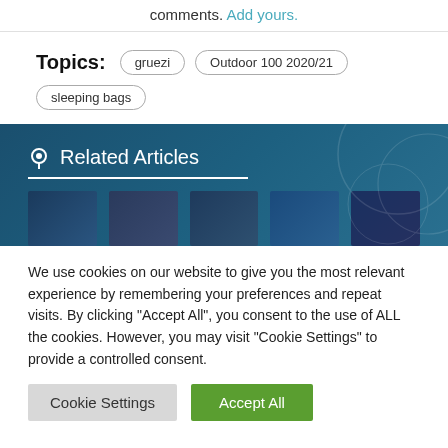comments. Add yours.
Topics: gruezi  Outdoor 100 2020/21  sleeping bags
Related Articles
[Figure (illustration): Five thumbnail images in a row inside a blue banner for Related Articles]
We use cookies on our website to give you the most relevant experience by remembering your preferences and repeat visits. By clicking "Accept All", you consent to the use of ALL the cookies. However, you may visit "Cookie Settings" to provide a controlled consent.